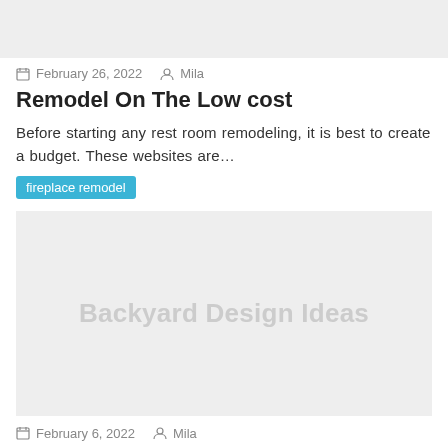[Figure (photo): Gray placeholder image at the top of the page]
February 26, 2022  Mila
Remodel On The Low cost
Before starting any rest room remodeling, it is best to create a budget. These websites are…
fireplace remodel
[Figure (photo): Gray placeholder image with text 'Backyard Design Ideas' centered]
February 6, 2022  Mila
Backyard Design Ideas